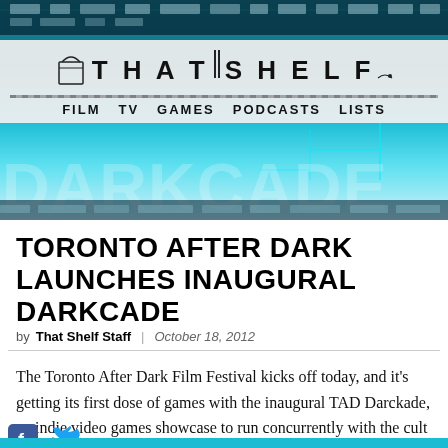[Figure (screenshot): That Shelf website header with logo showing 'THAT SHELF', navigation links FILM TV GAMES PODCASTS LISTS, on a semi-transparent light background overlaying a cyan/teal circuit board hero image. Below is a large 'DARKCADE' text partially visible in the hero background.]
TORONTO AFTER DARK LAUNCHES INAUGURAL DARKCADE
by That Shelf Staff | October 18, 2012
The Toronto After Dark Film Festival kicks off today, and it’s getting its first dose of games with the inaugural TAD Darckade, an indie video games showcase to run concurrently with the cult film fest.